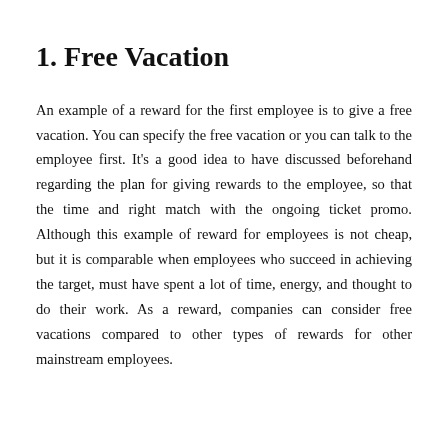1. Free Vacation
An example of a reward for the first employee is to give a free vacation. You can specify the free vacation or you can talk to the employee first. It's a good idea to have discussed beforehand regarding the plan for giving rewards to the employee, so that the time and right match with the ongoing ticket promo. Although this example of reward for employees is not cheap, but it is comparable when employees who succeed in achieving the target, must have spent a lot of time, energy, and thought to do their work. As a reward, companies can consider free vacations compared to other types of rewards for other mainstream employees.